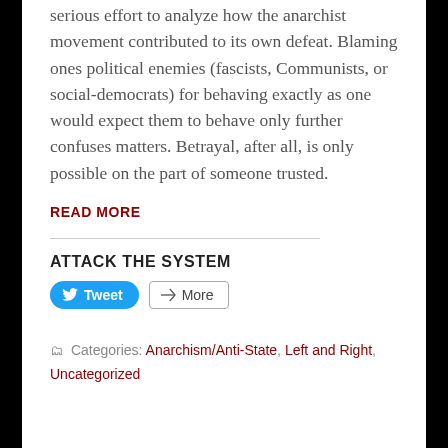serious effort to analyze how the anarchist movement contributed to its own defeat. Blaming ones political enemies (fascists, Communists, or social-democrats) for behaving exactly as one would expect them to behave only further confuses matters. Betrayal, after all, is only possible on the part of someone trusted.
READ MORE
ATTACK THE SYSTEM
[Figure (screenshot): Tweet and More social sharing buttons]
Categories: Anarchism/Anti-State, Left and Right, Uncategorized